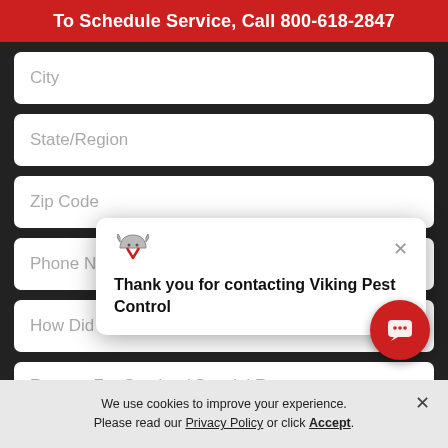To Schedule Service, Call 800-618-2847
City
State/Region
Zip Code
Phone Number
How Did You Hea
Reason For Service / Special Requests
[Figure (screenshot): Viking Pest Control chat popup with message: Thank you for contacting Viking Pest Control]
[Figure (other): Red circular chat button with chat icon]
We use cookies to improve your experience. Please read our Privacy Policy or click Accept.